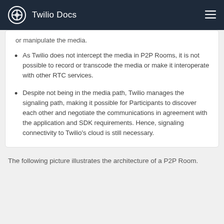Twilio Docs
As Twilio does not intercept the media in P2P Rooms, it is not possible to record or transcode the media or make it interoperate with other RTC services.
Despite not being in the media path, Twilio manages the signaling path, making it possible for Participants to discover each other and negotiate the communications in agreement with the application and SDK requirements. Hence, signaling connectivity to Twilio's cloud is still necessary.
The following picture illustrates the architecture of a P2P Room.